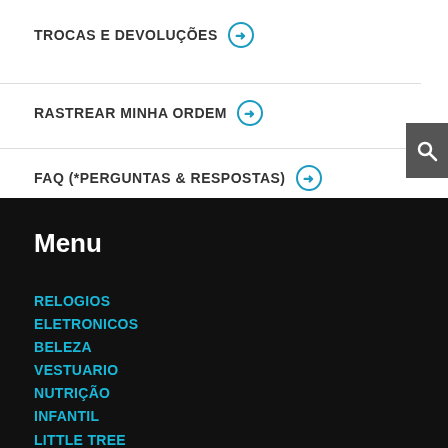TROCAS E DEVOLUÇÕES ➔
RASTREAR MINHA ORDEM ➔
FAQ (*PERGUNTAS & RESPOSTAS) ➔
Menu
RELOGIOS
ELETRONICOS
BELEZA
VESTUARIO
NUTRIÇÃO
INFANTIL
LITTLE TREE